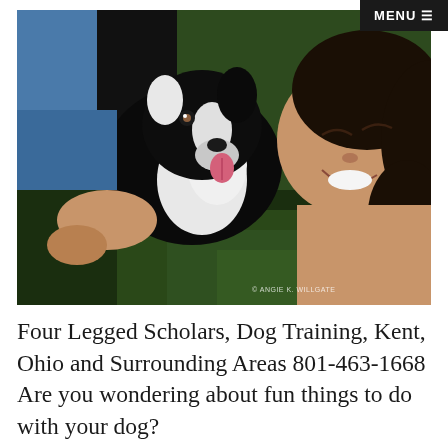MENU ☰
[Figure (photo): A woman lying on green grass cheek-to-cheek with a black and white Border Collie dog, both looking at the camera. The woman is smiling. A watermark reads '© ANGIE K. WILLGATE' in the lower right corner.]
Four Legged Scholars, Dog Training, Kent, Ohio and Surrounding Areas 801-463-1668 Are you wondering about fun things to do with your dog?